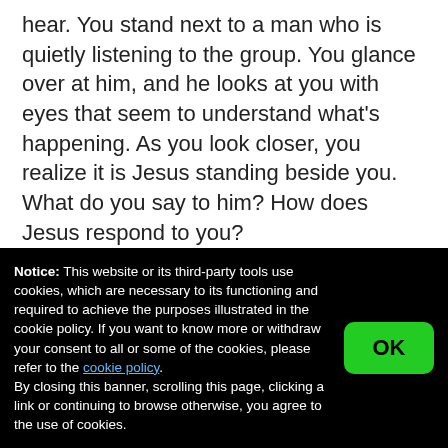hear. You stand next to a man who is quietly listening to the group. You glance over at him, and he looks at you with eyes that seem to understand what's happening. As you look closer, you realize it is Jesus standing beside you. What do you say to him? How does Jesus respond to you?
The group continues to question the man in the center of
Notice: This website or its third-party tools use cookies, which are necessary to its functioning and required to achieve the purposes illustrated in the cookie policy. If you want to know more or withdraw your consent to all or some of the cookies, please refer to the cookie policy. By closing this banner, scrolling this page, clicking a link or continuing to browse otherwise, you agree to the use of cookies.